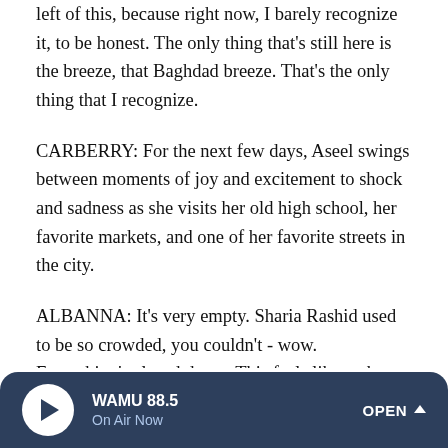left of this, because right now, I barely recognize it, to be honest. The only thing that's still here is the breeze, that Baghdad breeze. That's the only thing that I recognize.
CARBERRY: For the next few days, Aseel swings between moments of joy and excitement to shock and sadness as she visits her old high school, her favorite markets, and one of her favorite streets in the city.
ALBANNA: It's very empty. Sharia Rashid used to be so crowded, you couldn't - wow. Everything's closed down. This feels like a ghost town right here. This used to be the busiest, absolutely busiest street of Baghdad. It was just alive.
WAMU 88.5 On Air Now OPEN